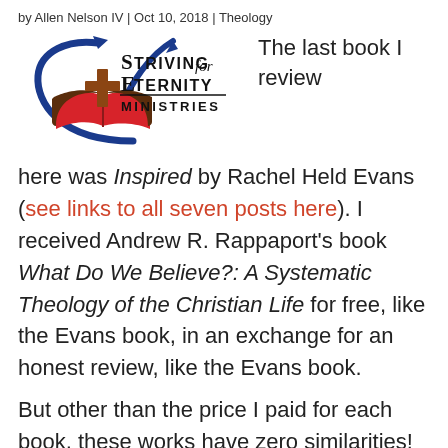by Allen Nelson IV | Oct 10, 2018 | Theology
[Figure (logo): Striving for Eternity Ministries logo with cross on open Bible and arrow]
The last book I review here was Inspired by Rachel Held Evans (see links to all seven posts here). I received Andrew R. Rappaport's book What Do We Believe?: A Systematic Theology of the Christian Life for free, like the Evans book, in an exchange for an honest review, like the Evans book.
But other than the price I paid for each book, these works have zero similarities!